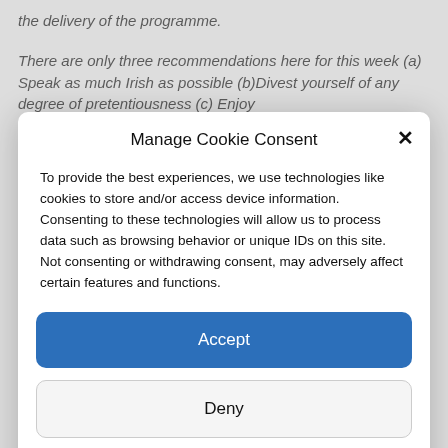the delivery of the programme.

There are only three recommendations here for this week (a) Speak as much Irish as possible (b)Divest yourself of any degree of pretentiousness (c) Enjoy
Manage Cookie Consent
To provide the best experiences, we use technologies like cookies to store and/or access device information. Consenting to these technologies will allow us to process data such as browsing behavior or unique IDs on this site. Not consenting or withdrawing consent, may adversely affect certain features and functions.
Accept
Deny
View preferences